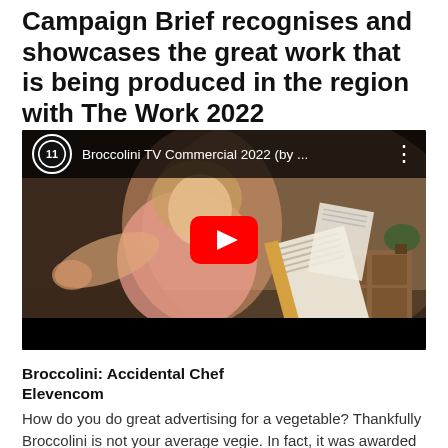Campaign Brief recognises and showcases the great work that is being produced in the region with The Work 2022 Contenders...
[Figure (screenshot): YouTube video thumbnail showing a woman in a pink shirt with a surprised expression, holding a book with pages flying out. A large red YouTube play button is centered on the image. The video title bar reads 'Broccolini TV Commercial 2022 (by ...' with the Elevencom channel icon (number 11 in a circle).]
Broccolini: Accidental Chef
Elevencom
How do you do great advertising for a vegetable? Thankfully Broccolini is not your average vegie. In fact, it was awarded